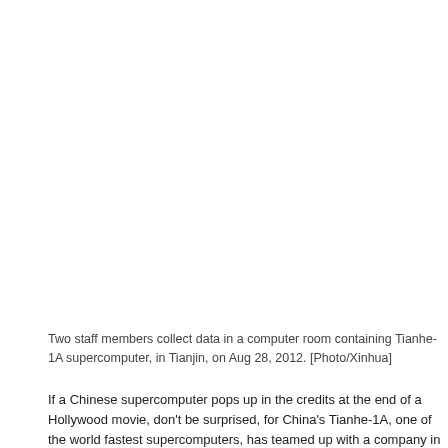[Figure (photo): Photo area showing a computer room containing the Tianhe-1A supercomputer in Tianjin, partially visible/cropped.]
Two staff members collect data in a computer room containing Tianhe-1A supercomputer, in Tianjin, on Aug 28, 2012. [Photo/Xinhua]
If a Chinese supercomputer pops up in the credits at the end of a Hollywood movie, don't be surprised, for China's Tianhe-1A, one of the world fastest supercomputers, has teamed up with a company in Tianjin to help create an animated film for DreamWorks.